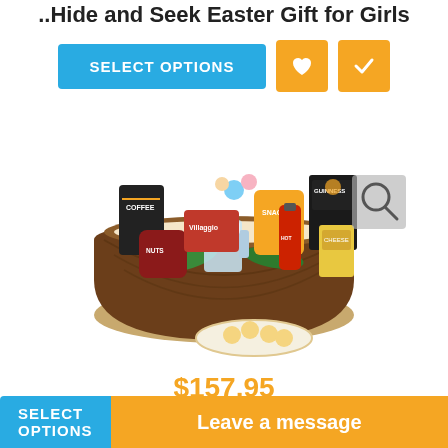..Hide and Seek Easter Gift for Girls
[Figure (screenshot): SELECT OPTIONS button in blue, and two orange icon buttons (heart and checkmark)]
[Figure (photo): Gift basket with various snack items including Guinness beer, hot sauce, crackers, nuts, cookies, and other food items. A magnifying glass icon overlay is in the upper right corner.]
$157.95
..It's a Guy Thing
[Figure (screenshot): Leave a message button in orange at the bottom]